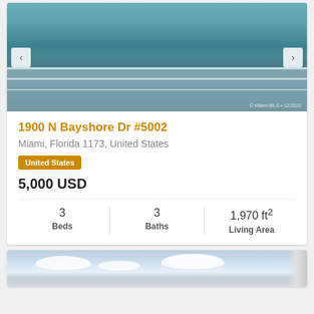[Figure (photo): Aerial bay view with balcony railing in foreground, Miami waterway and bridges in background]
1900 N Bayshore Dr #5002
Miami, Florida 1173, United States
United States
5,000 USD
3 Beds   3 Baths   1,970 ft² Living Area
[Figure (photo): Sky with clouds and building edge visible on right side]